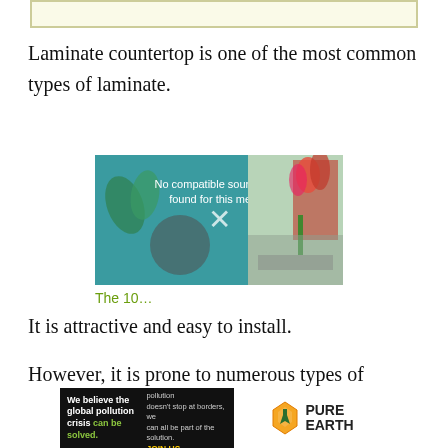[Figure (other): Light yellow banner/box at top of page]
Laminate countertop is one of the most common types of laminate.
[Figure (screenshot): Embedded video player showing 'No compatible source was found for this media.' overlay with X icon, kitchen/countertop background image]
The 10…
It is attractive and easy to install.
However, it is prone to numerous types of
[Figure (other): Advertisement banner: 'We believe the global pollution crisis can be solved.' Pure Earth organization ad]